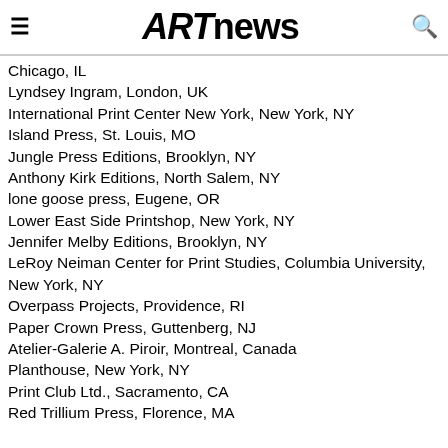ARTnews
Chicago, IL
Lyndsey Ingram, London, UK
International Print Center New York, New York, NY
Island Press, St. Louis, MO
Jungle Press Editions, Brooklyn, NY
Anthony Kirk Editions, North Salem, NY
lone goose press, Eugene, OR
Lower East Side Printshop, New York, NY
Jennifer Melby Editions, Brooklyn, NY
LeRoy Neiman Center for Print Studies, Columbia University, New York, NY
Overpass Projects, Providence, RI
Paper Crown Press, Guttenberg, NJ
Atelier-Galerie A. Piroir, Montreal, Canada
Planthouse, New York, NY
Print Club Ltd., Sacramento, CA
Red Trillium Press, Florence, MA